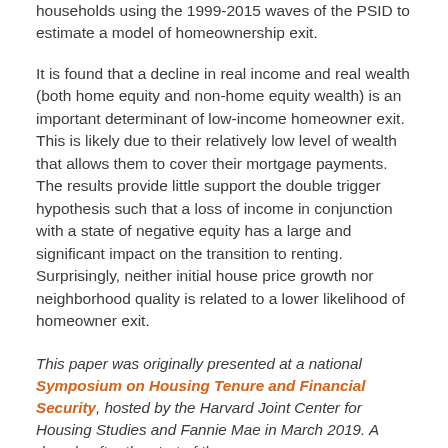households using the 1999-2015 waves of the PSID to estimate a model of homeownership exit.
It is found that a decline in real income and real wealth (both home equity and non-home equity wealth) is an important determinant of low-income homeowner exit. This is likely due to their relatively low level of wealth that allows them to cover their mortgage payments. The results provide little support the double trigger hypothesis such that a loss of income in conjunction with a state of negative equity has a large and significant impact on the transition to renting. Surprisingly, neither initial house price growth nor neighborhood quality is related to a lower likelihood of homeowner exit.
This paper was originally presented at a national Symposium on Housing Tenure and Financial Security, hosted by the Harvard Joint Center for Housing Studies and Fannie Mae in March 2019. A decade after the start of the